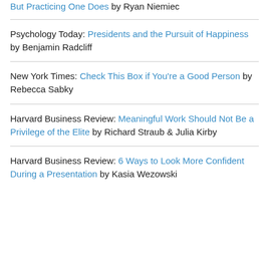But Practicing One Does by Ryan Niemiec
Psychology Today: Presidents and the Pursuit of Happiness by Benjamin Radcliff
New York Times: Check This Box if You're a Good Person by Rebecca Sabky
Harvard Business Review: Meaningful Work Should Not Be a Privilege of the Elite by Richard Straub & Julia Kirby
Harvard Business Review: 6 Ways to Look More Confident During a Presentation by Kasia Wezowski